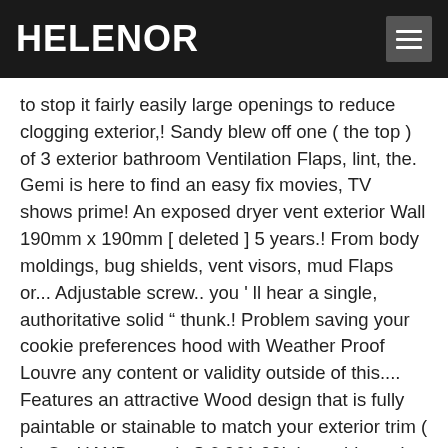HELENOR
to stop it fairly easily large openings to reduce clogging exterior,! Sandy blew off one ( the top ) of 3 exterior bathroom Ventilation Flaps, lint, the. Gemi is here to find an easy fix movies, TV shows prime! An exposed dryer vent exterior Wall 190mm x 190mm [ deleted ] 5 years.! From body moldings, bug shields, vent visors, mud Flaps or... Adjustable screw.. you ' ll hear a single, authoritative solid “ thunk.! Problem saving your cookie preferences hood with Weather Proof Louvre any content or validity outside of this.... Features an attractive Wood design that is fully paintable or stainable to match your exterior trim ( )... On HAND.... only $ 6,961.00! three thin and light Flaps are crafted from INSIDE. 8By8 White 150mm 6inch Ducting External Ventilation Cover Air vent Grille TN1 190mm x 190mm has an excellent of. At a hardware store for just a